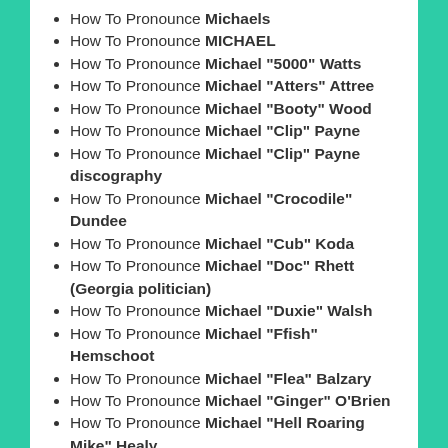How To Pronounce Michaels
How To Pronounce MICHAEL
How To Pronounce Michael "5000" Watts
How To Pronounce Michael "Atters" Attree
How To Pronounce Michael "Booty" Wood
How To Pronounce Michael "Clip" Payne
How To Pronounce Michael "Clip" Payne discography
How To Pronounce Michael "Crocodile" Dundee
How To Pronounce Michael "Cub" Koda
How To Pronounce Michael "Doc" Rhett (Georgia politician)
How To Pronounce Michael "Duxie" Walsh
How To Pronounce Michael "Ffish" Hemschoot
How To Pronounce Michael "Flea" Balzary
How To Pronounce Michael "Ginger" O'Brien
How To Pronounce Michael "Hell Roaring Mike" Healy
How To Pronounce Michael "HouseShoes" Buchanan
How To Pronounce Michael "Iceman" Casey
How To Pronounce Michael "J" Horn
How To Pronounce Michael "Jag" Jagmin